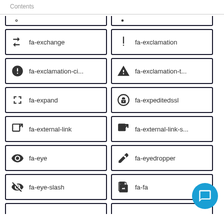Contents
fa-exchange
fa-exclamation
fa-exclamation-ci...
fa-exclamation-t...
fa-expand
fa-expeditedssl
fa-external-link
fa-external-link-s...
fa-eye
fa-eyedropper
fa-eye-slash
fa-fa